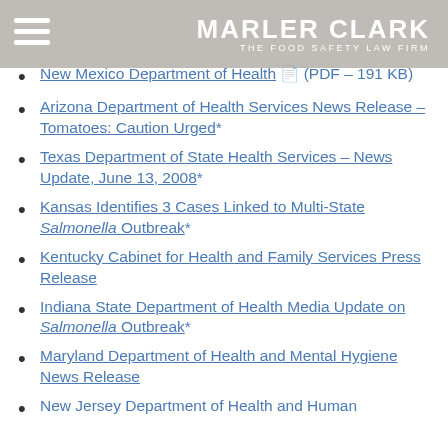MARLER CLARK — THE FOOD SAFETY LAW FIRM
New Mexico Department of Health (PDF – 191 KB)
Arizona Department of Health Services News Release – Tomatoes: Caution Urged*
Texas Department of State Health Services – News Update, June 13, 2008*
Kansas Identifies 3 Cases Linked to Multi-State Salmonella Outbreak*
Kentucky Cabinet for Health and Family Services Press Release
Indiana State Department of Health Media Update on Salmonella Outbreak*
Maryland Department of Health and Mental Hygiene News Release
New Jersey Department of Health and Human...